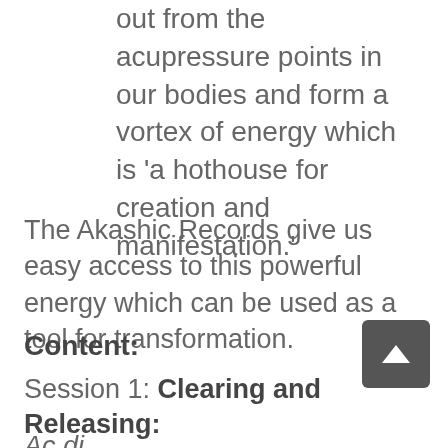out from the acupressure points in our bodies and form a vortex of energy which is 'a hothouse for creation and manifestation.'
The Akashic Records give us easy access to this powerful energy which can be used as a tool for transformation.
Content:
Session 1: Clearing and Releasing:
Ac di...